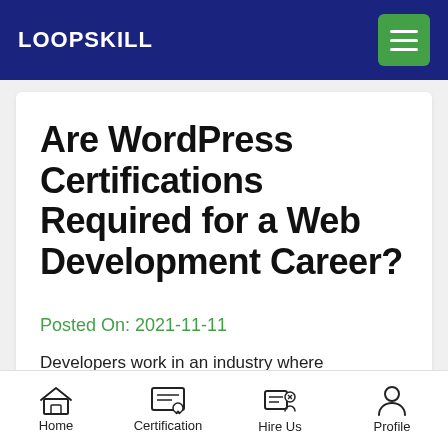LOOPSKILL
Are WordPress Certifications Required for a Web Development Career?
Posted On: 2021-11-11
Developers work in an industry where experience and knowledge are very important…
Home | Certification | Hire Us | Profile